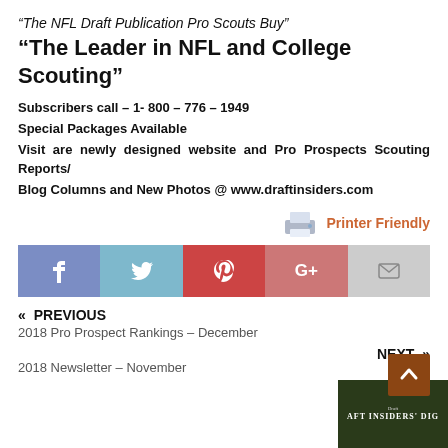“The NFL Draft Publication Pro Scouts Buy” “The Leader in NFL and College Scouting”
Subscribers call – 1- 800 – 776 – 1949
Special Packages Available
Visit are newly designed website and Pro Prospects Scouting Reports/
Blog Columns and New Photos @ www.draftinsiders.com
[Figure (infographic): Printer icon with orange Printer Friendly label]
[Figure (infographic): Social media share bar with Facebook, Twitter, Pinterest, Google+, and Email buttons]
« PREVIOUS
2018 Pro Prospect Rankings – December
NEXT »
2018 Newsletter – November
[Figure (screenshot): Draft Insiders thumbnail image with scroll-to-top brown button]